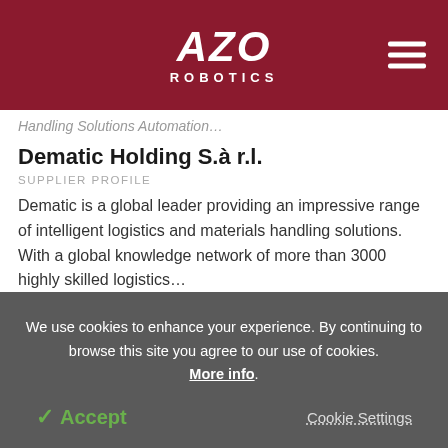AZO ROBOTICS
Handling Solutions Automation...
Dematic Holding S.à r.l.
SUPPLIER PROFILE
Dematic is a global leader providing an impressive range of intelligent logistics and materials handling solutions. With a global knowledge network of more than 3000 highly skilled logistics...
We use cookies to enhance your experience. By continuing to browse this site you agree to our use of cookies. More info.
✓ Accept
Cookie Settings